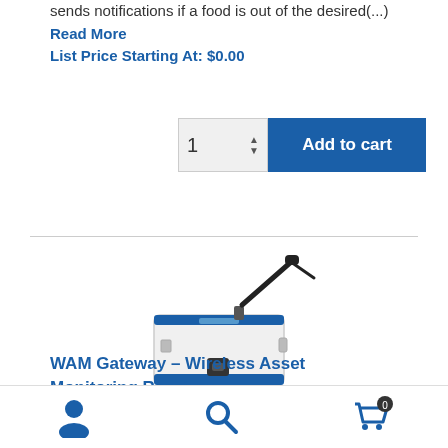sends notifications if a food is out of the desired(...) Read More
List Price Starting At: $0.00
[Figure (screenshot): Quantity input box showing '1' with up/down arrows, and a blue 'Add to cart' button]
[Figure (photo): WAM Gateway - Wireless Asset Monitoring Receiver product photo showing a white rectangular device with a black antenna]
WAM Gateway - Wireless Asset Monitoring Receiver
[Figure (infographic): Bottom navigation bar with user account icon, search icon, and cart icon with badge showing 0]